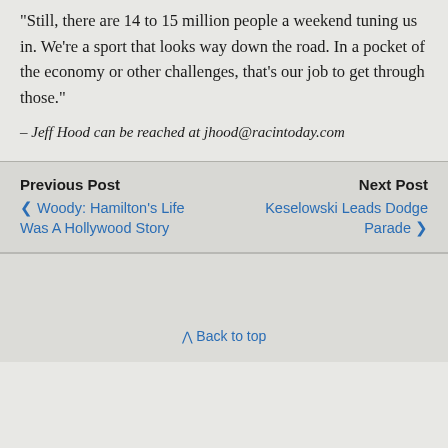“Still, there are 14 to 15 million people a weekend tuning us in. We’re a sport that looks way down the road. In a pocket of the economy or other challenges, that’s our job to get through those.”
– Jeff Hood can be reached at jhood@racintoday.com
Previous Post
❮ Woody: Hamilton's Life Was A Hollywood Story
Next Post
Keselowski Leads Dodge Parade ❯
⌃ Back to top